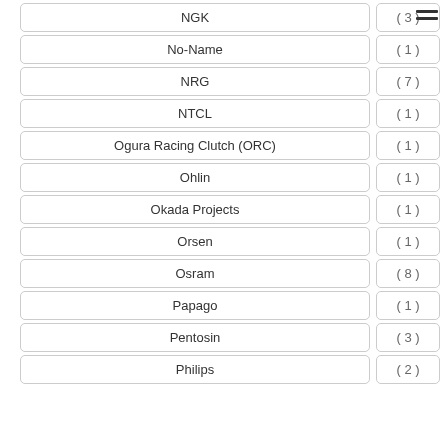NGK ( 3 )
No-Name ( 1 )
NRG ( 7 )
NTCL ( 1 )
Ogura Racing Clutch (ORC) ( 1 )
Ohlin ( 1 )
Okada Projects ( 1 )
Orsen ( 1 )
Osram ( 8 )
Papago ( 1 )
Pentosin ( 3 )
Philips ( 2 )